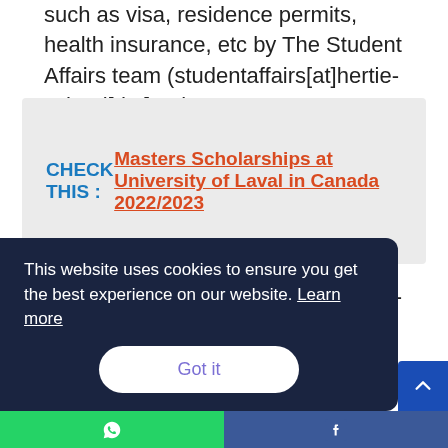such as visa, residence permits, health insurance, etc by The Student Affairs team (studentaffairs[at]hertie-school[dot]org).
CHECK THIS :  Masters Scholarships at University of Laval in Canada 2022/2023
Duration of Program: 3-year, English-language
This website uses cookies to ensure you get the best experience on our website. Learn more
Got it